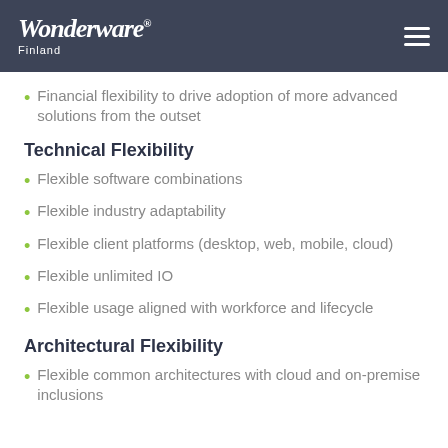Wonderware Finland
Financial flexibility to drive adoption of more advanced solutions from the outset
Technical Flexibility
Flexible software combinations
Flexible industry adaptability
Flexible client platforms (desktop, web, mobile, cloud)
Flexible unlimited IO
Flexible usage aligned with workforce and lifecycle
Architectural Flexibility
Flexible common architectures with cloud and on-premise inclusions